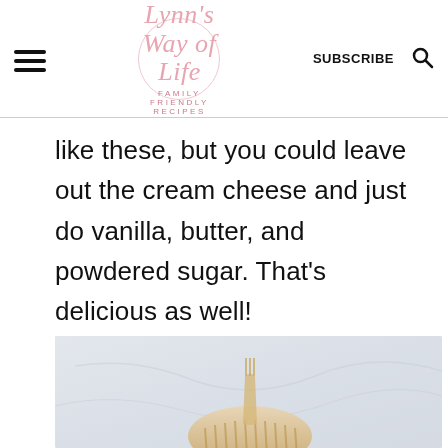Lynn's Way of Life — FAMILY FRIENDLY RECIPES | SUBSCRIBE
like these, but you could leave out the cream cheese and just do vanilla, butter, and powdered sugar. That's delicious as well!
[Figure (photo): Photo of a cookie or pastry item on a light marble background, partially visible at bottom of page]